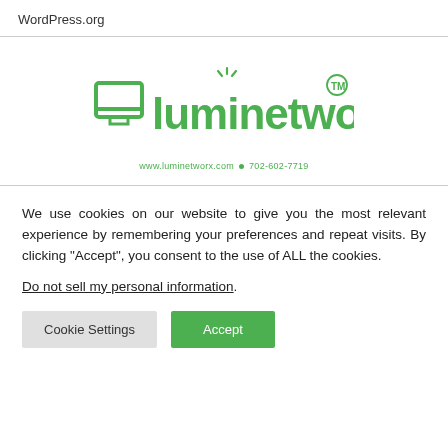WordPress.org
[Figure (logo): Luminetworx logo in green with website www.luminetworx.com and phone 702-602-7719]
We use cookies on our website to give you the most relevant experience by remembering your preferences and repeat visits. By clicking “Accept”, you consent to the use of ALL the cookies.
Do not sell my personal information.
Cookie Settings  Accept